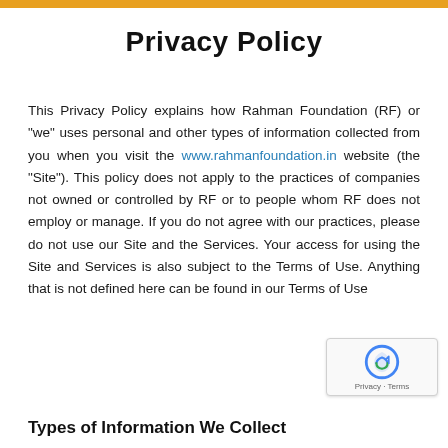Privacy Policy
This Privacy Policy explains how Rahman Foundation (RF) or "we" uses personal and other types of information collected from you when you visit the www.rahmanfoundation.in website (the "Site"). This policy does not apply to the practices of companies not owned or controlled by RF or to people whom RF does not employ or manage. If you do not agree with our practices, please do not use our Site and the Services. Your access for using the Site and Services is also subject to the Terms of Use. Anything that is not defined here can be found in our Terms of Use
Types of Information We Collect